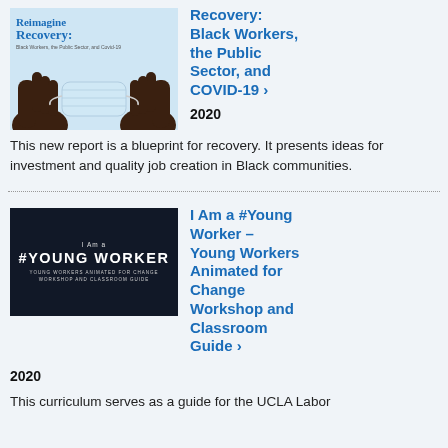[Figure (illustration): Book cover for 'Reimagining Recovery: Black Workers, the Public Sector, and Covid-19' showing two dark hands holding a surgical face mask against a light blue background.]
Recovery: Black Workers, the Public Sector, and COVID-19 ›
2020
This new report is a blueprint for recovery. It presents ideas for investment and quality job creation in Black communities.
[Figure (illustration): Dark navy card reading 'I Am a #YOUNG WORKER – Young Workers Animated for Change Workshop and Classroom Guide' in white text on black background.]
I Am a #Young Worker – Young Workers Animated for Change Workshop and Classroom Guide ›
2020
This curriculum serves as a guide for the UCLA Labor